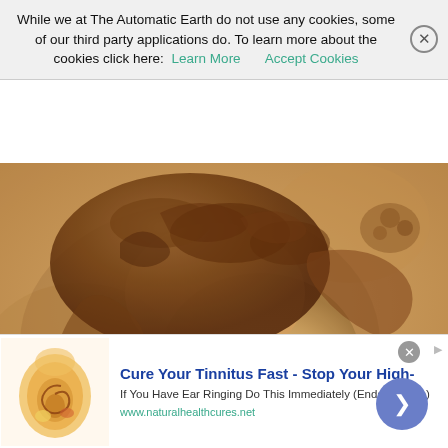While we at The Automatic Earth do not use any cookies, some of our third party applications do. To learn more about the cookies click here: Learn More   Accept Cookies
[Figure (illustration): Renaissance-style sanguine/chalk drawing of a woman's head bowed downward, with elaborate curly hair. The drawing appears to be in the style of Leonardo da Vinci or similar Italian Renaissance master. Warm brown/terracotta tones on beige paper.]
[Figure (infographic): Advertisement banner: illustration of human ear anatomy on the left, bold blue text 'Cure Your Tinnitus Fast - Stop Your High-', smaller text 'If You Have Ear Ringing Do This Immediately (Ends Tinnitus)', green URL 'www.naturalhealthcures.net', large blue circular arrow button on right.]